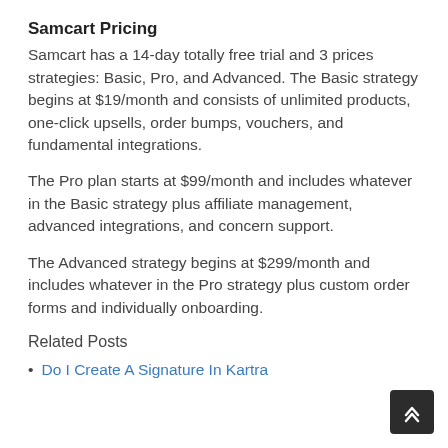Samcart Pricing
Samcart has a 14-day totally free trial and 3 prices strategies: Basic, Pro, and Advanced. The Basic strategy begins at $19/month and consists of unlimited products, one-click upsells, order bumps, vouchers, and fundamental integrations.
The Pro plan starts at $99/month and includes whatever in the Basic strategy plus affiliate management, advanced integrations, and concern support.
The Advanced strategy begins at $299/month and includes whatever in the Pro strategy plus custom order forms and individually onboarding.
Related Posts
Do I Create A Signature In Kartra